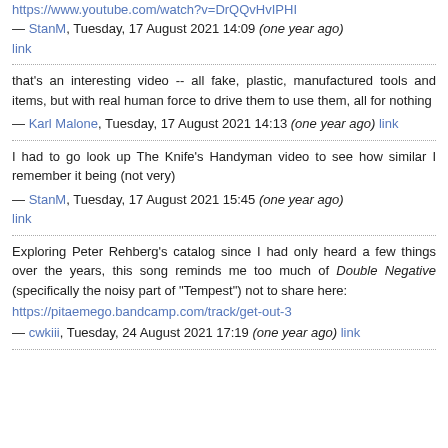https://www.youtube.com/watch?v=DrQQvHvIPHI
— StanM, Tuesday, 17 August 2021 14:09 (one year ago) link
that's an interesting video -- all fake, plastic, manufactured tools and items, but with real human force to drive them to use them, all for nothing
— Karl Malone, Tuesday, 17 August 2021 14:13 (one year ago) link
I had to go look up The Knife's Handyman video to see how similar I remember it being (not very)
— StanM, Tuesday, 17 August 2021 15:45 (one year ago) link
Exploring Peter Rehberg's catalog since I had only heard a few things over the years, this song reminds me too much of Double Negative (specifically the noisy part of "Tempest") not to share here:
https://pitaemego.bandcamp.com/track/get-out-3
— cwkiii, Tuesday, 24 August 2021 17:19 (one year ago) link